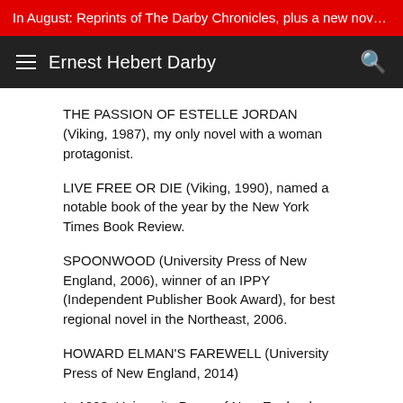In August: Reprints of The Darby Chronicles, plus a new novel W...
Ernest Hebert Darby
THE PASSION OF ESTELLE JORDAN (Viking, 1987), my only novel with a woman protagonist.
LIVE FREE OR DIE (Viking, 1990), named a notable book of the year by the New York Times Book Review.
SPOONWOOD (University Press of New England, 2006), winner of an IPPY (Independent Publisher Book Award), for best regional novel in the Northeast, 2006.
HOWARD ELMAN'S FAREWELL (University Press of New England, 2014)
In 1993, University Press of New England published THE KINSHIP, which includes the two Darby novels that focus on the rural underclass, A LITTLE MORE THAN KIN and THE